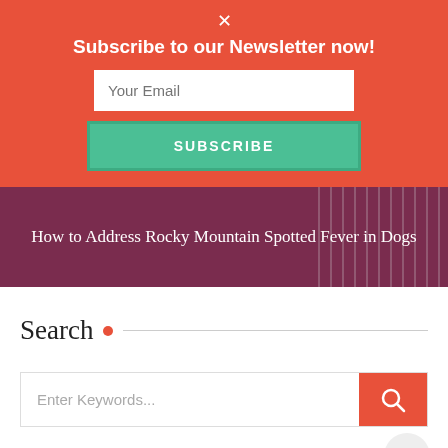×
Subscribe to our Newsletter now!
Your Email
SUBSCRIBE
[Figure (photo): Dark pink/maroon banner with white dog paws visible on the right side]
How to Address Rocky Mountain Spotted Fever in Dogs
Search
Enter Keywords...